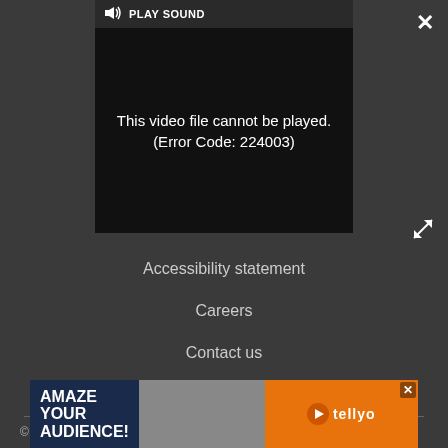[Figure (screenshot): Video player showing error message 'This video file cannot be played. (Error Code: 224003)' with PLAY SOUND button and speaker icon in top bar]
Accessibility statement
Careers
Contact us
Advertise
Do not sell my info
© Future US, Inc. Full 7th Floor, 130 West 42nd Street, New
[Figure (screenshot): Advertisement banner: AMAZE YOUR AUDIENCE! with people image and tellyo logo on orange background]